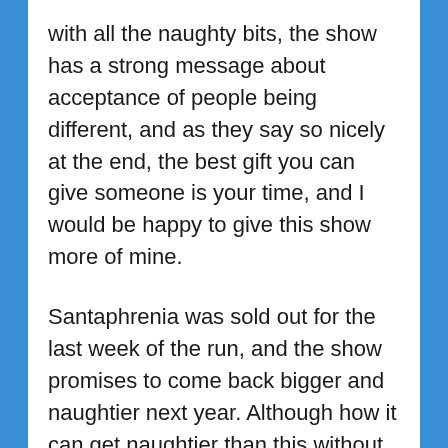with all the naughty bits, the show has a strong message about acceptance of people being different, and as they say so nicely at the end, the best gift you can give someone is your time, and I would be happy to give this show more of mine.
Santaphrenia was sold out for the last week of the run, and the show promises to come back bigger and naughtier next year. Although how it can get naughtier than this without going too far into the crude side to be amusing is anyone's guess. But I know I'll be there, and I'm